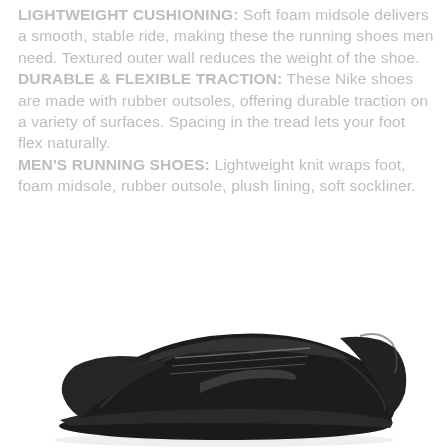LIGHTWEIGHT CUSHIONING: Soft foam midsole delivers a smooth, stable ride, making these the running shoes men need. Textured outer wall reduces the weight of the shoe. DURABLE & FLEXIBLE TRACTION: These Nike shoes are made with rubber outsoles, offering durable traction on a variety of surfaces. Spacing in the tread lets your foot flex naturally. MEN'S RUNNING SHOES: Lightweight knit wraps foot, foam midsole, rubber outsole, plush lining, soft sockliner.
[Figure (photo): A black Nike running shoe photographed from the side/front angle against a white background, showing the knit upper, rubber outsole, and Nike branding.]